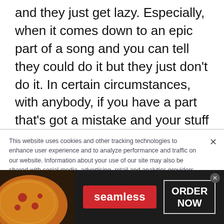and they just get lazy. Especially, when it comes down to an epic part of a song and you can tell they could do it but they just don't do it. In certain circumstances, with anybody, if you have a part that's got a mistake and your stuff is packed up, you're doing the mix and notice a mistake - you have to correct the mistake. At that point, it's a given to do something where you
This website uses cookies and other tracking technologies to enhance user experience and to analyze performance and traffic on our website. Information about your use of our site may also be shared with social media, advertising, retail and analytics providers and partners. Privacy Policy
[Figure (other): Seamless food delivery advertisement banner showing pizza image on left, red Seamless button in center, and ORDER NOW button in dark box on right, on dark background]